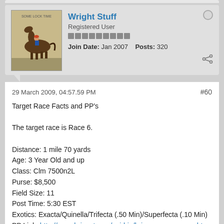Wright Stuff | Registered User | Join Date: Jan 2007 | Posts: 320
29 March 2009, 04:57.59 PM
#60
Target Race Facts and PP's
The target race is Race 6.
Distance: 1 mile 70 yards
Age: 3 Year Old and up
Class: Clm 7500n2L
Purse: $8,500
Field Size: 11
Post Time: 5:30 EST
Exotics: Exacta/Quinella/Trifecta (.50 Min)/Superfecta (.10 Min)
PP Link: http://www.brisnet.com/cgi-bin/brisw...re_summary.htm Scroll down to the sire More Than Ready/March 31
Last edited by Wright Stuff; 29 March 2009, 07:20.37 PM. Reason: Added message title
Eddie